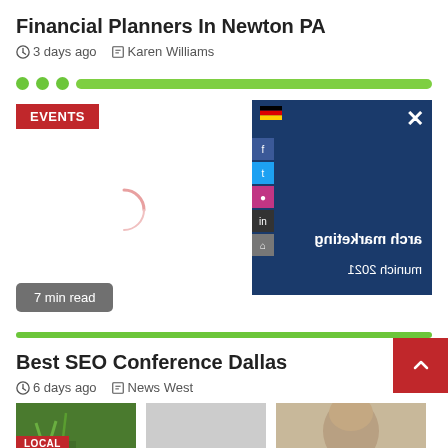Financial Planners In Newton PA
3 days ago  Karen Williams
[Figure (screenshot): Progress bar row with three green dots and a green progress bar]
EVENTS
[Figure (screenshot): Article card with EVENTS badge, loading spinner, and a thumbnail image showing mirrored text 'arch marketing' and 'munich 2021' on a dark blue background with social media sidebar buttons and German flag icon]
7 min read
Best SEO Conference Dallas
6 days ago  News West
[Figure (screenshot): Bottom row of three article thumbnail images: left with LOCAL badge on green plant background, center gray, right showing person with updo hairstyle]